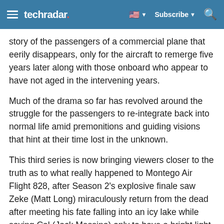techradar — Subscribe — Search
story of the passengers of a commercial plane that eerily disappears, only for the aircraft to remerge five years later along with those onboard who appear to have not aged in the intervening years.
Much of the drama so far has revolved around the struggle for the passengers to re-integrate back into normal life amid premonitions and guiding visions that hint at their time lost in the unknown.
This third series is now bringing viewers closer to the truth as to what really happened to Montego Air Flight 828, after Season 2's explosive finale saw Zeke (Matt Long) miraculously return from the dead after meeting his fate falling into an icy lake while saving Cal (Jack Messina) only to have a bright light heal him.